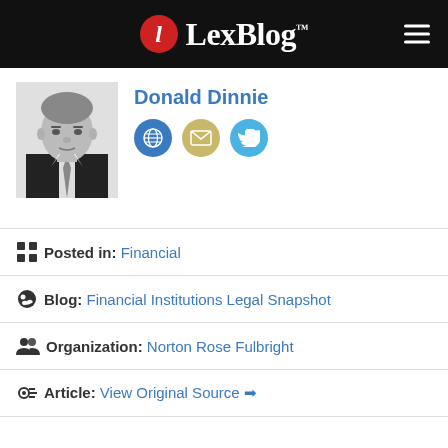LexBlog
[Figure (photo): Black and white portrait photo of Donald Dinnie, a man in a suit and tie]
Donald Dinnie
Posted in: Financial
Blog: Financial Institutions Legal Snapshot
Organization: Norton Rose Fulbright
Article: View Original Source